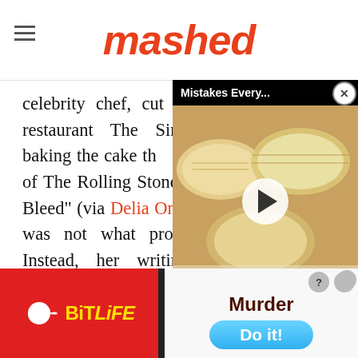mashed
celebrity chef, cut her culin... restaurant The Singing Ch... Despite baking the cake th... cover of The Rolling Stones' 1969 album "Let It Bleed" (via Delia Online), Smith's cooking was not what propelled her to fame. Instead, her writing initially brought attention to her name.
[Figure (screenshot): Video overlay showing 'Mistakes Every...' title with thumbnail of bread/biscuits and a play button, on black background]
[Figure (screenshot): BitLife advertisement banner with red background on left side showing BitLife logo in yellow text, and right side showing 'Murder' text with 'Do it!' blue button]